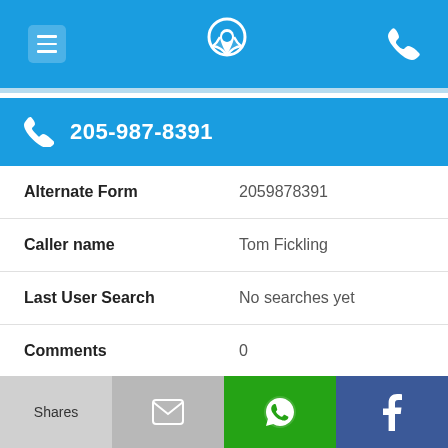205-987-8391
| Field | Value |
| --- | --- |
| Alternate Form | 2059878391 |
| Caller name | Tom Fickling |
| Last User Search | No searches yet |
| Comments | 0 |
205-987-8775
Shares | Email | WhatsApp | Facebook